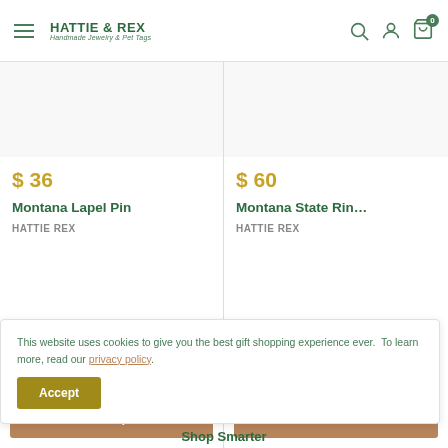HATTIE & REX — Handmade Jewelry & Pet Tags
$ 36
Montana Lapel Pin
HATTIE REX
Choose options
$ 60
Montana State Ring
HATTIE REX
Add to
This website uses cookies to give you the best gift shopping experience ever.  To learn more, read our privacy policy.
Accept
Shop Smarter